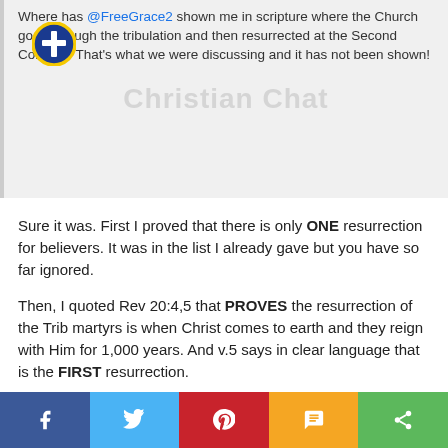Where has @FreeGrace2 shown me in scripture where the Church goes through the tribulation and then resurrected at the Second Coming? That's what we were discussing and it has not been shown!
Sure it was. First I proved that there is only ONE resurrection for believers. It was in the list I already gave but you have so far ignored.
Then, I quoted Rev 20:4,5 that PROVES the resurrection of the Trib martyrs is when Christ comes to earth and they reign with Him for 1,000 years. And v.5 says in clear language that is the FIRST resurrection.
The second resurrection is for the unsaved and will occur just before the GWT judgment in Rev 20:11-15.
It's sad that you make such erroneous claims when the evidence is already out there.